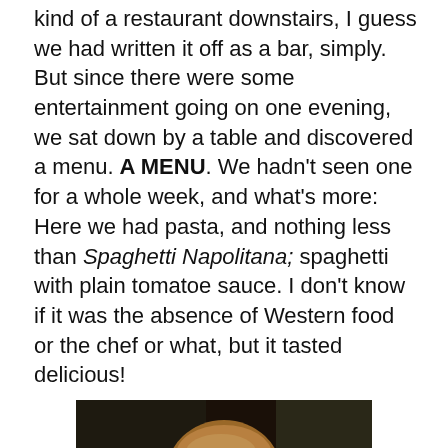After almost a week, we suddenly found there was some kind of a restaurant downstairs, I guess we had written it off as a bar, simply. But since there were some entertainment going on one evening, we sat down by a table and discovered a menu. A MENU. We hadn't seen one for a whole week, and what's more: Here we had pasta, and nothing less than Spaghetti Napolitana; spaghetti with plain tomatoe sauce. I don't know if it was the absence of Western food or the chef or what, but it tasted delicious!
[Figure (photo): A woman with medium-length blonde/brown hair smiling at the camera, seated at what appears to be a restaurant. A person in a blue shirt is partially visible in the background.]